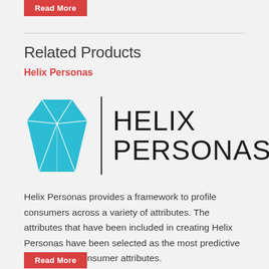Read More
Related Products
Helix Personas
[Figure (logo): Helix Personas logo: a cyan geometric gem shape on the left, a vertical black divider line, and the text 'HELIX PERSONAS' in large sans-serif letters on the right]
Helix Personas provides a framework to profile consumers across a variety of attributes. The attributes that have been included in creating Helix Personas have been selected as the most predictive and defining consumer attributes.
Read More